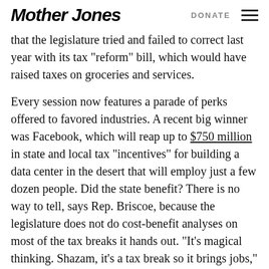Mother Jones | DONATE
that the legislature tried and failed to correct last year with its tax “reform” bill, which would have raised taxes on groceries and services.
Every session now features a parade of perks offered to favored industries. A recent big winner was Facebook, which will reap up to $750 million in state and local tax “incentives” for building a data center in the desert that will employ just a few dozen people. Did the state benefit? There is no way to tell, says Rep. Briscoe, because the legislature does not do cost-benefit analyses on most of the tax breaks it hands out. “It’s magical thinking. Shazam, it’s a tax break so it brings jobs,” he says. “But how do we know?”